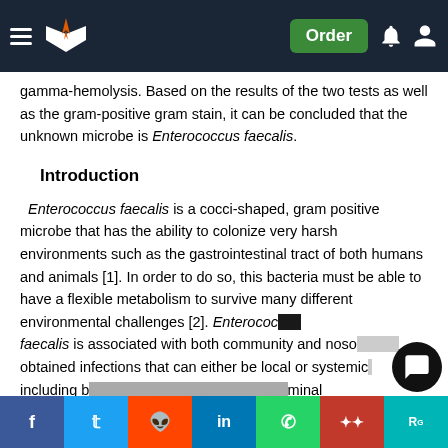Navigation bar with logo, Order button, notification and user icons
gamma-hemolysis. Based on the results of the two tests as well as the gram-positive gram stain, it can be concluded that the unknown microbe is Enterococcus faecalis.
Introduction
Enterococcus faecalis is a cocci-shaped, gram positive microbe that has the ability to colonize very harsh environments such as the gastrointestinal tract of both humans and animals [1]. In order to do so, this bacteria must be able to have a flexible metabolism to survive many different environmental challenges [2]. Enterococcus faecalis is associated with both community and noso... obtained infections that can either be local or systemic, including b... minal infections,...